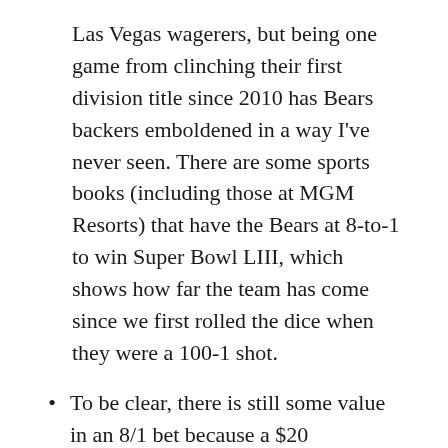Las Vegas wagerers, but being one game from clinching their first division title since 2010 has Bears backers emboldened in a way I've never seen. There are some sports books (including those at MGM Resorts) that have the Bears at 8‑to‑1 to win Super Bowl LIII, which shows how far the team has come since we first rolled the dice when they were a 100‑1 shot.
To be clear, there is still some value in an 8/1 bet because a $20 investment would pay out $180. But it's nowhere near what it was earlier in the year or what it is at other books. You won't find Bears Super